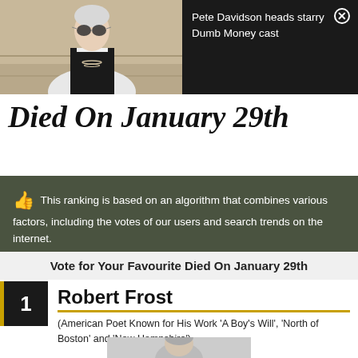[Figure (photo): Photo of Pete Davidson wearing sunglasses, white blazer with black trim, and necklace]
Pete Davidson heads starry Dumb Money cast
Died On January 29th
This ranking is based on an algorithm that combines various factors, including the votes of our users and search trends on the internet.
Vote for Your Favourite Died On January 29th
1 Robert Frost
(American Poet Known for His Work 'A Boy's Will', 'North of Boston' and 'New Hampshire')
[Figure (photo): Partial photo at bottom of page, person not fully visible]